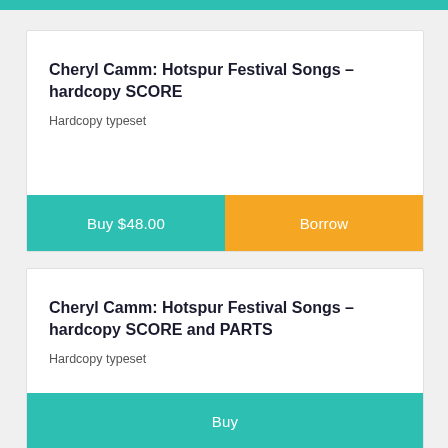Cheryl Camm: Hotspur Festival Songs - hardcopy SCORE
Hardcopy typeset
Buy $48.00
Borrow
Cheryl Camm: Hotspur Festival Songs - hardcopy SCORE and PARTS
Hardcopy typeset
Buy